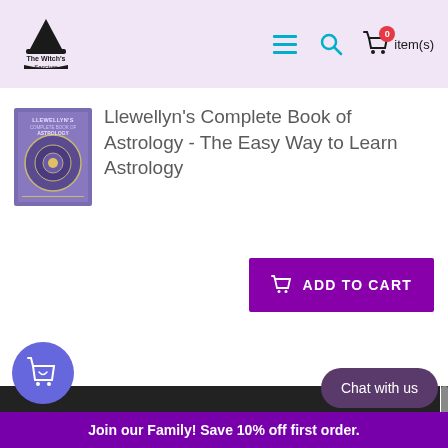The Witch's Sanctum — navigation header with menu, search, cart icons
[Figure (screenshot): Book thumbnail for Llewellyn's Complete Book of Astrology with purple cover]
Llewellyn's Complete Book of Astrology - The Easy Way to Learn Astrology
ADD TO CART
Login
WHAT WE OFFER
Fast Order Processing
Flexible Payment Options
All Packages Shipped Tracked
Outstanding Customer Service
High Quality Products
Chat with us
Join our Family! Save 10% off first order.